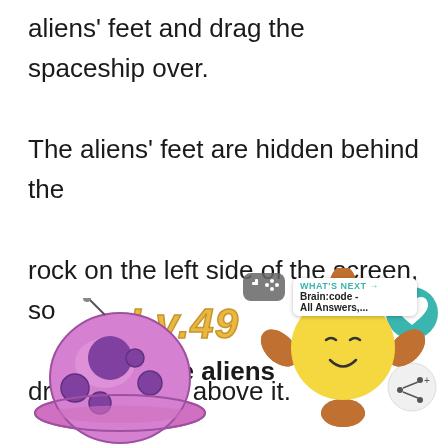aliens' feet and drag the spaceship over. The aliens' feet are hidden behind the rock on the left side of the screen, so drag the UFO above it.
Lv.49
Find the aliens
[Figure (illustration): Purple UFO/planet with rings illustration at bottom left]
[Figure (illustration): Yellow sun-like face with orange petals and game controller icon at bottom right, with WHAT'S NEXT banner]
[Figure (infographic): Heart/like button (teal circle with heart icon) showing count 10, and share button below]